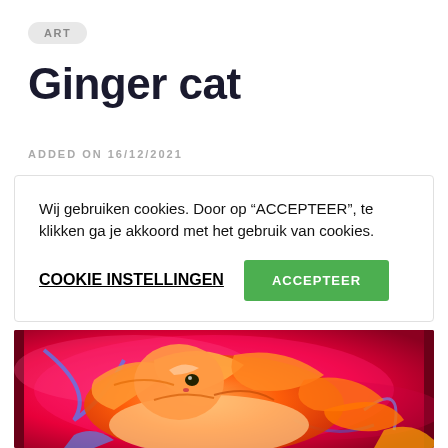ART
Ginger cat
ADDED ON 16/12/2021
Wij gebruiken cookies. Door op “ACCEPTEER”, te klikken ga je akkoord met het gebruik van cookies.
COOKIE INSTELLINGEN
ACCEPTEER
[Figure (photo): Colorful painting of a ginger cat with vivid orange, pink, magenta, and blue swirling colors on a bright pink/red background, highly stylized and vibrant artwork.]